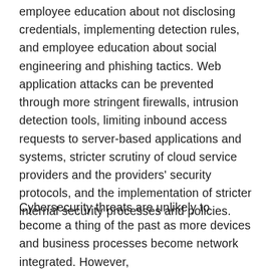employee education about not disclosing credentials, implementing detection rules, and employee education about social engineering and phishing tactics. Web application attacks can be prevented through more stringent firewalls, intrusion detection tools, limiting inbound access requests to server-based applications and systems, stricter scrutiny of cloud service providers and the providers' security protocols, and the implementation of stricter internal security processes and policies.
Cybersecurity threats are unlikely to become a thing of the past as more devices and business processes become network integrated. However,